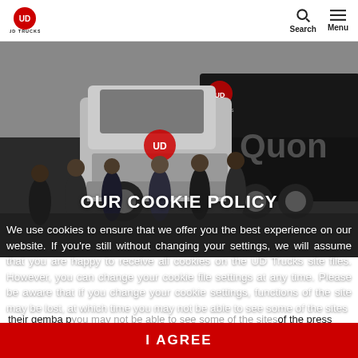UD TRUCKS | Search | Menu
[Figure (photo): Group of men in suits standing in front of a UD Trucks Quon heavy truck in a dark exhibition hall. The large truck has a grey cab and a black container trailer with 'Quon' branding visible.]
OUR COOKIE POLICY
We use cookies to ensure that we offer you the best experience on our website. If you're still without changing your settings, we will assume that you are happy to receive all cookies on the UD Trucks site files. However, you can change your cookie file settings at any time. Please be aware that if you change your cookie settings, functions of the site may be lost, at which time you may not be able to see some of the sites
their gemba p of the press also had the opportunity to test drive the all new Quon and experience the improved automatic transmission, ESCOT-VI, as well as the newly adapted disk br of the customers and highlighted the seamless logistics for commercial driving.
I AGREE